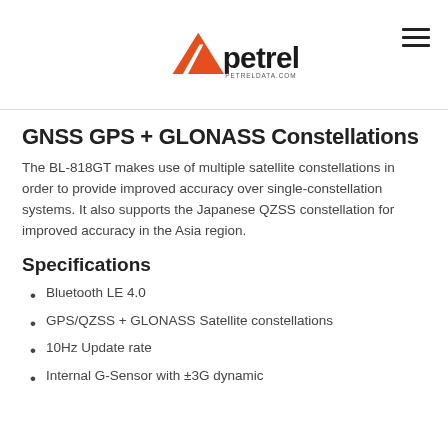Petrel — PETRELDATA.COM
GNSS GPS + GLONASS Constellations
The BL-818GT makes use of multiple satellite constellations in order to provide improved accuracy over single-constellation systems. It also supports the Japanese QZSS constellation for improved accuracy in the Asia region.
Specifications
Bluetooth LE 4.0
GPS/QZSS + GLONASS Satellite constellations
10Hz Update rate
Internal G-Sensor with ±3G dynamic